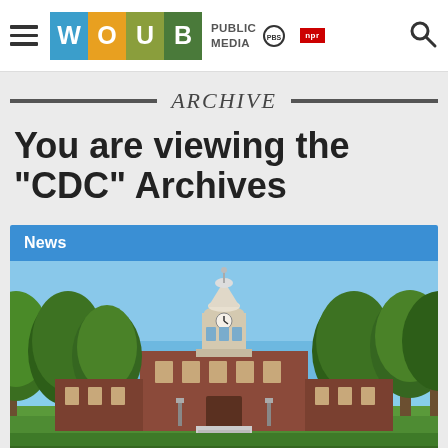WOUB PUBLIC MEDIA PBS NPR
ARCHIVE
You are viewing the "CDC" Archives
News
[Figure (photo): Campus photo showing a red-brick building with a white clock tower cupola, surrounded by large green trees, with a brick walkway leading to the entrance on a sunny day.]